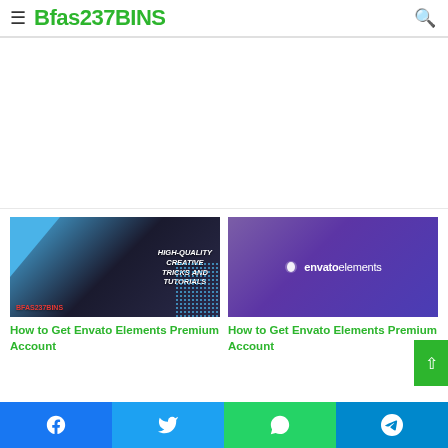≡ Bfas237BINS 🔍
[Figure (screenshot): Advertisement/blank area below header]
[Figure (screenshot): Left card thumbnail: High-Quality Creative Tricks and Tutorials - Bfas237BINS branding with blue triangle and dot pattern]
How to Get Envato Elements Premium Account
[Figure (logo): Right card thumbnail: Envato Elements logo on purple gradient background]
How to Get Envato Elements Premium Account
Facebook | Twitter | WhatsApp | Telegram social share bar